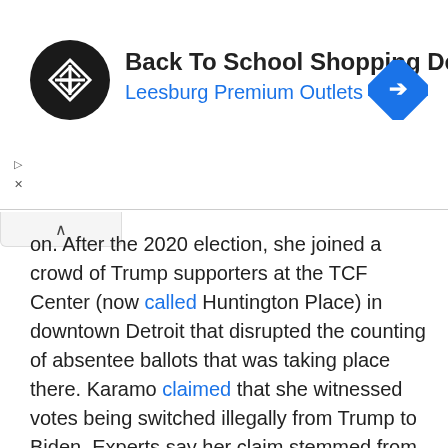[Figure (other): Advertisement banner for Back To School Shopping Deals at Leesburg Premium Outlets with logo and navigation icon]
on. After the 2020 election, she joined a crowd of Trump supporters at the TCF Center (now called Huntington Place) in downtown Detroit that disrupted the counting of absentee ballots that was taking place there. Karamo claimed that she witnessed votes being switched illegally from Trump to Biden. Experts say her claim stemmed from a lack of understanding of election procedures.

Karamo, a part-time community college instructor and a former O'Reilly Auto parts merchandiser, is a self-described "Christian apologist," among whose beliefs are the ideas that public schools are "indoctrination camps" and the "normalization of Marxism in our culture is our biggest